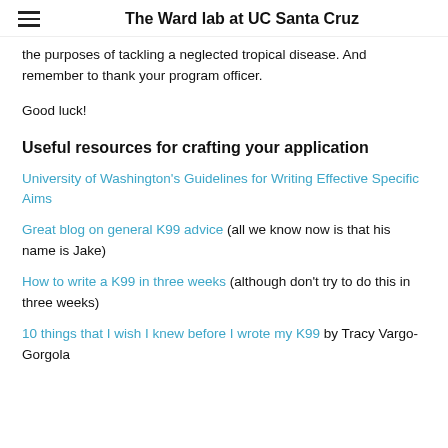The Ward lab at UC Santa Cruz
the purposes of tackling a neglected tropical disease. And remember to thank your program officer.
Good luck!
Useful resources for crafting your application
University of Washington's Guidelines for Writing Effective Specific Aims
Great blog on general K99 advice (all we know now is that his name is Jake)
How to write a K99 in three weeks (although don't try to do this in three weeks)
10 things that I wish I knew before I wrote my K99 by Tracy Vargo-Gorgola